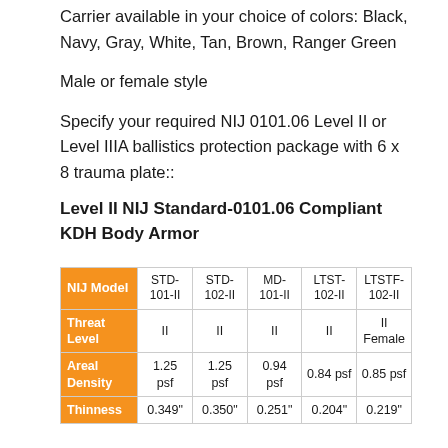Carrier available in your choice of colors: Black, Navy, Gray, White, Tan, Brown, Ranger Green
Male or female style
Specify your required NIJ 0101.06 Level II or Level IIIA ballistics protection package with 6 x 8 trauma plate::
Level II NIJ Standard-0101.06 Compliant KDH Body Armor
| NIJ Model | STD-101-II | STD-102-II | MD-101-II | LTST-102-II | LTSTF-102-II |
| --- | --- | --- | --- | --- | --- |
| Threat Level | II | II | II | II | II Female |
| Areal Density | 1.25 psf | 1.25 psf | 0.94 psf | 0.84 psf | 0.85 psf |
| Thinness | 0.349" | 0.350" | 0.251" | 0.204" | 0.219" |